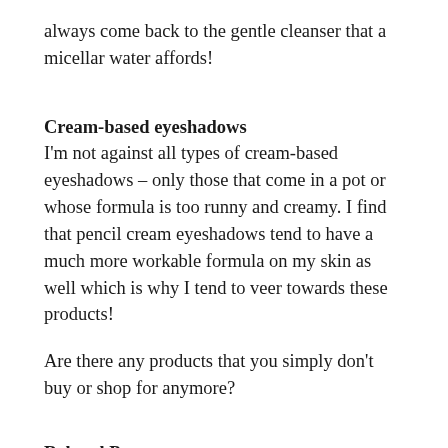always come back to the gentle cleanser that a micellar water affords!
Cream-based eyeshadows
I'm not against all types of cream-based eyeshadows – only those that come in a pot or whose formula is too runny and creamy. I find that pencil cream eyeshadows tend to have a much more workable formula on my skin as well which is why I tend to veer towards these products!
Are there any products that you simply don't buy or shop for anymore?
Related Posts: